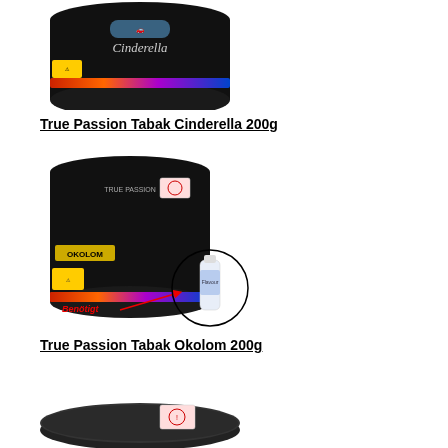[Figure (photo): Top of a black cylindrical tin of True Passion Tabak Cinderella 200g with colorful flame design and Cinderella text]
True Passion Tabak Cinderella 200g
[Figure (photo): Black cylindrical tin of True Passion Tabak Okolom 200g with colorful flame design, accompanied by a small bottle in a circle with red text 'Benötigt' and arrow pointing to the bottle]
True Passion Tabak Okolom 200g
[Figure (photo): Top portion of a black cylindrical tin, partially visible at the bottom of the page]